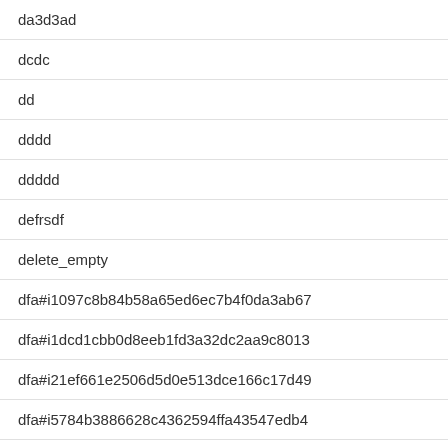da3d3ad
dcdc
dd
dddd
ddddd
defrsdf
delete_empty
dfa#i1097c8b84b58a65ed6ec7b4f0da3ab67
dfa#i1dcd1cbb0d8eeb1fd3a32dc2aa9c8013
dfa#i21ef661e2506d5d0e513dce166c17d49
dfa#i5784b3886628c4362594ffa43547edb4
dfa#ibcac9f4c58199eeaa7ba5c7750b8434b
dfdfdf